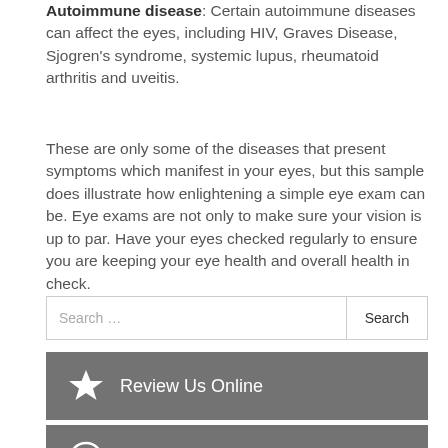Autoimmune disease: Certain autoimmune diseases can affect the eyes, including HIV, Graves Disease, Sjogren's syndrome, systemic lupus, rheumatoid arthritis and uveitis.
These are only some of the diseases that present symptoms which manifest in your eyes, but this sample does illustrate how enlightening a simple eye exam can be. Eye exams are not only to make sure your vision is up to par. Have your eyes checked regularly to ensure you are keeping your eye health and overall health in check.
Search …
Review Us Online
Dry Eye Treatment